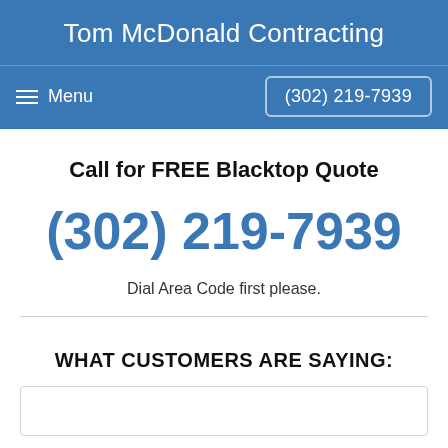Tom McDonald Contracting
Menu   (302) 219-7939
Call for FREE Blacktop Quote
(302) 219-7939
Dial Area Code first please.
WHAT CUSTOMERS ARE SAYING: